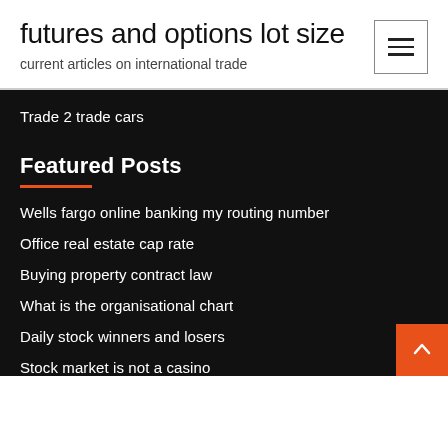futures and options lot size
current articles on international trade
Trade 2 trade cars
Featured Posts
Wells fargo online banking my routing number
Office real estate cap rate
Buying property contract law
What is the organisational chart
Daily stock winners and losers
Stock market is not a casino